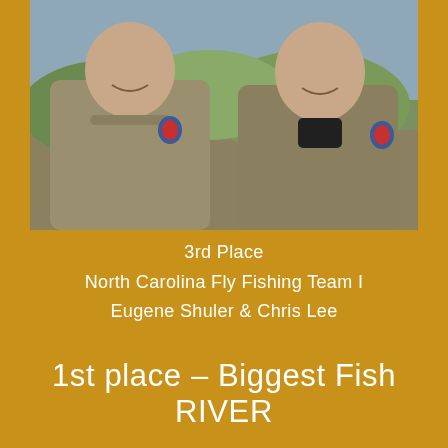[Figure (photo): Two men wearing matching khaki/olive fishing team shirts with a logo patch, smiling, outdoors with trees and hills in the background.]
3rd Place
North Carolina Fly Fishing Team I
Eugene Shuler & Chris Lee
1st place – Biggest Fish RIVER